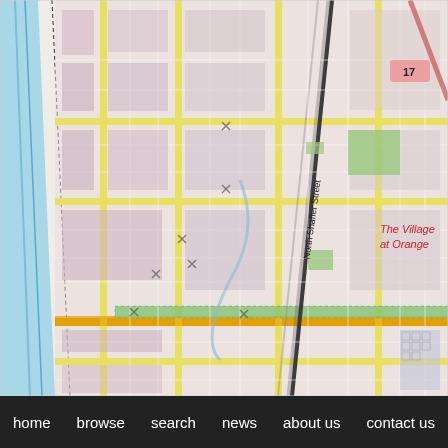[Figure (map): Street map of Orange, California showing North Shaffer Street running diagonally, yellow arterial roads, residential blocks in pink/lavender, green parks, blue waterway/canal on the left, red highway marker '17' in upper right, label 'The Village at Orange' in red, and a green linear park strip running horizontally near the bottom third of the map.]
home   browse   search   news   about us   contact us